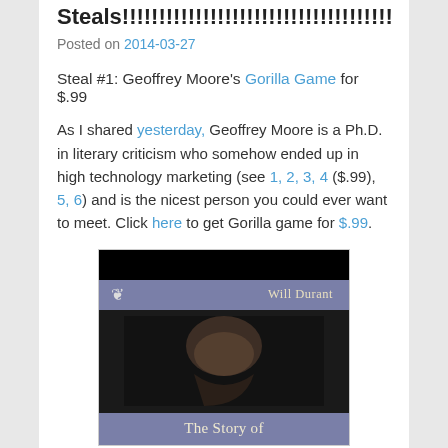Steals!!!!!!!!!!!!!!!!!!!!!!!!!!!!!!!!!!!!!
Posted on 2014-03-27
Steal #1: Geoffrey Moore's Gorilla Game for $.99
As I shared yesterday, Geoffrey Moore is a Ph.D. in literary criticism who somehow ended up in high technology marketing (see 1, 2, 3, 4 ($.99), 5, 6) and is the nicest person you could ever want to meet. Click here to get Gorilla game for $.99.
[Figure (photo): Book cover image showing Will Durant's 'The Story of' with a face partially visible against a dark background, with a purple/blue author bar]